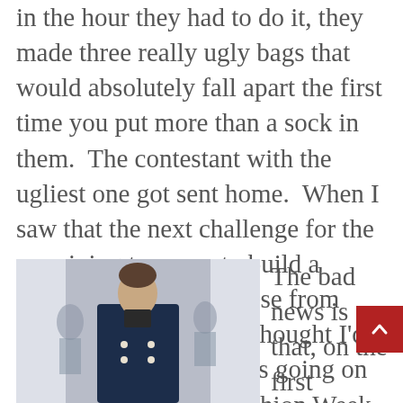in the hour they had to do it, they made three really ugly bags that would absolutely fall apart the first time you put more than a sock in them.  The contestant with the ugliest one got sent home.  When I saw that the next challenge for the remaining two was to build a school-themed playhouse from classroom materials, I thought I'd better get back to what's going on in Paris with Men's Fashion Week.
[Figure (photo): A man wearing a navy blue double-breasted jacket walking on a runway, with other people visible in the background]
The bad news is that, on the first